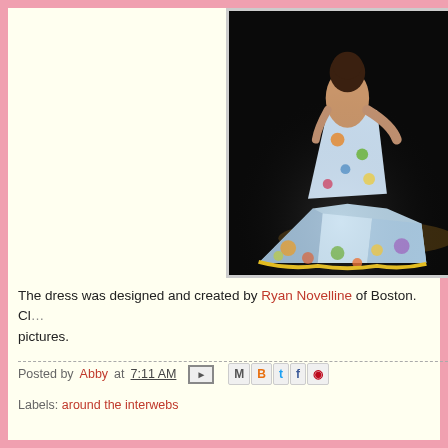[Figure (photo): A model wearing a colorful, floral patterned ballgown with a large train, photographed from behind on a dark stage.]
The dress was designed and created by Ryan Novelline of Boston.  Cl... pictures.
Posted by Abby at 7:11 AM
Labels: around the interwebs